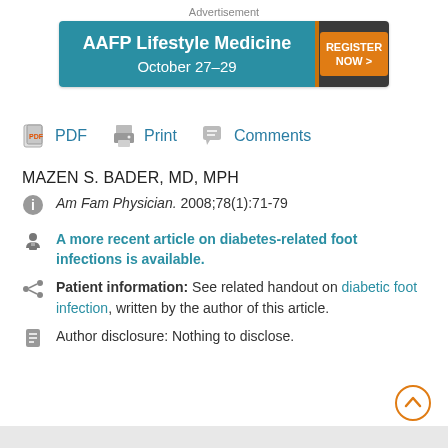[Figure (other): AAFP Lifestyle Medicine advertisement banner: October 27-29, Register Now button]
PDF  Print  Comments
MAZEN S. BADER, MD, MPH
Am Fam Physician. 2008;78(1):71-79
A more recent article on diabetes-related foot infections is available.
Patient information: See related handout on diabetic foot infection, written by the author of this article.
Author disclosure: Nothing to disclose.